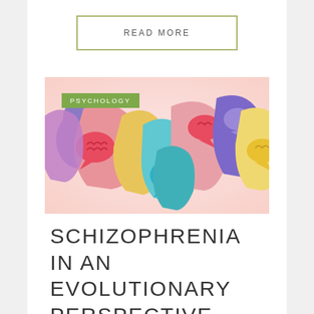READ MORE
[Figure (illustration): Colorful illustration of multiple human head silhouettes in profile view with speech bubble brain icons in various colors (red, blue, yellow, pink, purple, teal). A green 'PSYCHOLOGY' tag overlays the upper left.]
SCHIZOPHRENIA IN AN EVOLUTIONARY PERSPECTIVE